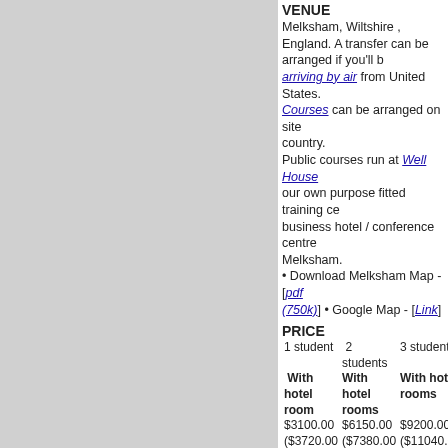[Figure (photo): Gray image/photo placeholder on left half of page]
VENUE
Melksham, Wiltshire , England. A transfer can be arranged if you'll be arriving by air from United States. Courses can be arranged on site country.
Public courses run at Well House our own purpose fitted training centre business hotel / conference centre Melksham.
• Download Melksham Map - [pdf (750k)] • Google Map - [Link]
PRICE
| 1 student | 2 students | 3 students |
| --- | --- | --- |
| With hotel room | With hotel rooms | With hotel rooms |
| $3100.00 ($3720.00 inc VAT) or £1900.00 (No VAT from 1.2019) | $6150.00 ($7380.00 inc VAT) £3750.00 (No VAT from 1.2019) | $9200.00 ($11040.00 inc VAT) £5600.00 (No VAT from 1.2019) |
| Without room | Without rooms | Without rooms |
| $2550.00 ($3060.00 inc VAT) | $5050.00 ($6060.00 inc VAT) £3050.00 (No VAT | $7550.00 ($9060.00 inc VAT) £4550.00 (No VAT |